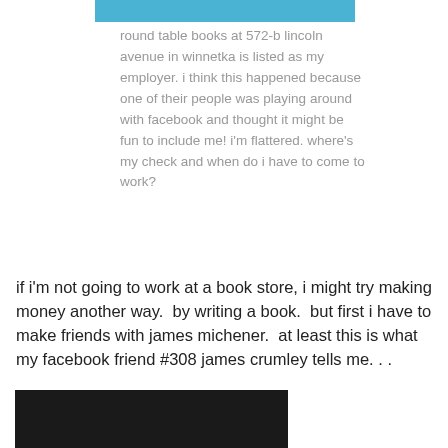[Figure (photo): Top portion of a cropped photo with blue background]
round table books at 572-b lincoln avenue in winnetka is listed as my employer. i think this happened because one of their people was playing around with facebook and thought it might be fun to include me! i'm flattered. where's my check and when do i have to come to work?
if i'm not going to work at a book store, i might try making money another way.  by writing a book.  but first i have to make friends with james michener.  at least this is what my facebook friend #308 james crumley tells me. . .
[Figure (photo): Bottom photo showing a dark scene, partially visible]